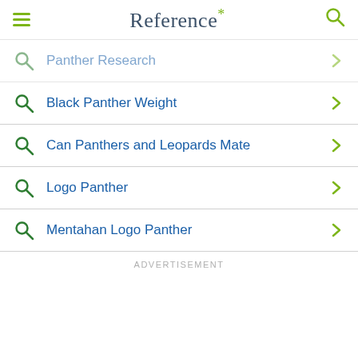Reference*
Panther Research
Black Panther Weight
Can Panthers and Leopards Mate
Logo Panther
Mentahan Logo Panther
ADVERTISEMENT